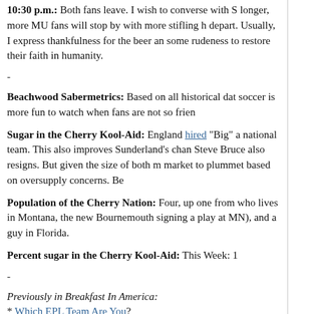10:30 p.m.: Both fans leave. I wish to converse with S longer, more MU fans will stop by with more stifling h depart. Usually, I express thankfulness for the beer and some rudeness to restore their faith in humanity.
-
Beachwood Sabermetrics: Based on all historical dat soccer is more fun to watch when fans are not so frien
Sugar in the Cherry Kool-Aid: England hired "Big" a national team. This also improves Sunderland's chan Steve Bruce also resigns. But given the size of both m market to plummet based on oversupply concerns. Be
Population of the Cherry Nation: Four, up one from who lives in Montana, the new Bournemouth signing a play at MN), and a guy in Florida.
Percent sugar in the Cherry Kool-Aid: This Week: 1
-
Previously in Breakfast In America:
* Which EPL Team Are You?
* Know Your Terminology.